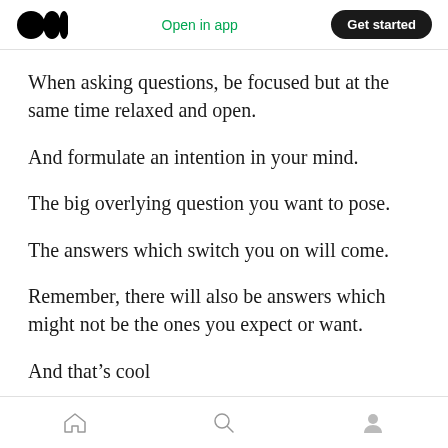Medium logo | Open in app | Get started
When asking questions, be focused but at the same time relaxed and open.
And formulate an intention in your mind.
The big overlying question you want to pose.
The answers which switch you on will come.
Remember, there will also be answers which might not be the ones you expect or want.
And that’s cool
Home | Search | Profile